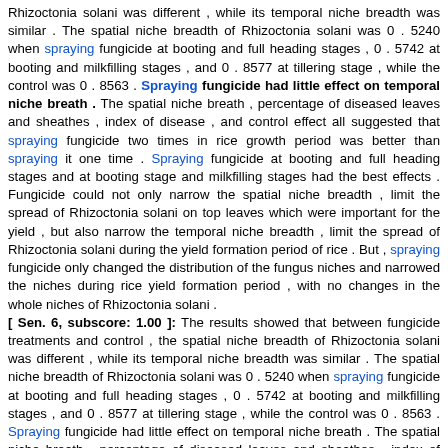Rhizoctonia solani was different , while its temporal niche breadth was similar . The spatial niche breadth of Rhizoctonia solani was 0 . 5240 when spraying fungicide at booting and full heading stages , 0 . 5742 at booting and milkfilling stages , and 0 . 8577 at tillering stage , while the control was 0 . 8563 . Spraying fungicide had little effect on temporal niche breath . The spatial niche breath , percentage of diseased leaves and sheathes , index of disease , and control effect all suggested that spraying fungicide two times in rice growth period was better than spraying it one time . Spraying fungicide at booting and full heading stages and at booting stage and milkfilling stages had the best effects . Fungicide could not only narrow the spatial niche breadth , limit the spread of Rhizoctonia solani on top leaves which were important for the yield , but also narrow the temporal niche breadth , limit the spread of Rhizoctonia solani during the yield formation period of rice . But , spraying fungicide only changed the distribution of the fungus niches and narrowed the niches during rice yield formation period , with no changes in the whole niches of Rhizoctonia solani .
[ Sen. 6, subscore: 1.00 ]: The results showed that between fungicide treatments and control , the spatial niche breadth of Rhizoctonia solani was different , while its temporal niche breadth was similar . The spatial niche breadth of Rhizoctonia solani was 0 . 5240 when spraying fungicide at booting and full heading stages , 0 . 5742 at booting and milkfilling stages , and 0 . 8577 at tillering stage , while the control was 0 . 8563 . Spraying fungicide had little effect on temporal niche breath . The spatial niche breath , percentage of diseased leaves and sheathes , index of disease , and control effect all suggested that spraying fungicide two times in rice growth period was better than spraying it one time . Spraying fungicide at booting and full heading stages and at booting stage and milkfilling stages had the best effects . Fungicide could not only narrow the spatial niche breadth , limit the spread of